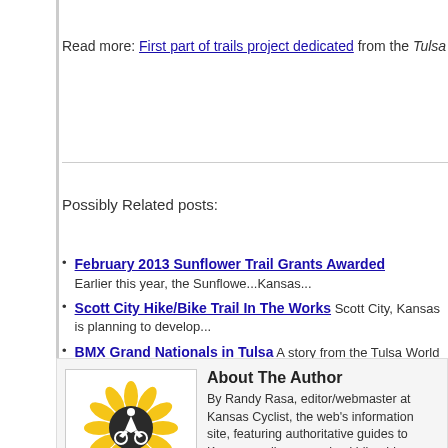Read more: First part of trails project dedicated from the Tulsa World.
Possibly Related posts:
February 2013 Sunflower Trail Grants Awarded Earlier this year, the Sunflower ... Kansas...
Scott City Hike/Bike Trail In The Works Scott City, Kansas is planning to develop...
BMX Grand Nationals in Tulsa A story from the Tulsa World about the recently-com...
'Craptastic' Trails in Tulsa? Ed Wagner of CycleDog writes about his experiences o...
Tulsa's Bike-Sharing Program On his CycleDog blog, Ed Wagner writes about Tuls...
About The Author By Randy Rasa, editor/webmaster at Kansas Cyclist, the web's information site, featuring authoritative guides to Kansas cyclin... organized bike rides, touring, trails, and much more. [learn mo...